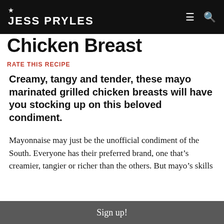JESS PRYLES
Chicken Breast
RATE THIS RECIPE
Creamy, tangy and tender, these mayo marinated grilled chicken breasts will have you stocking up on this beloved condiment.
Mayonnaise may just be the unofficial condiment of the South. Everyone has their preferred brand, one that's creamier, tangier or richer than the others. But mayo's skills
Sign up!